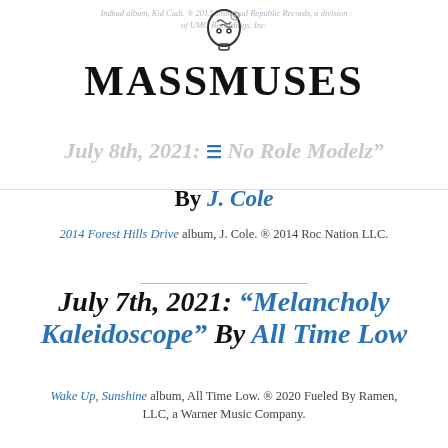MASSMUSES
Indkud album, Kid Cudi. ® 2013 Universal Republic Records, a division of UMG Recordings, Inc.
July 8th, 2021: ⋮ No Role Modelz" By J. Cole
2014 Forest Hills Drive album, J. Cole. ® 2014 Roc Nation LLC.
July 7th, 2021: “Melancholy Kaleidoscope” By All Time Low
Wake Up, Sunshine album, All Time Low. ® 2020 Fueled By Ramen, LLC, a Warner Music Company.